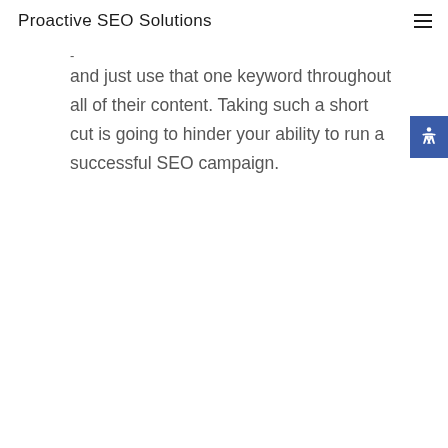Proactive SEO Solutions
- and just use that one keyword throughout all of their content. Taking such a short cut is going to hinder your ability to run a successful SEO campaign.